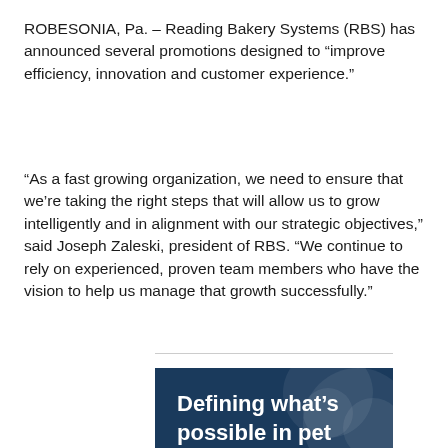ROBESONIA, Pa. – Reading Bakery Systems (RBS) has announced several promotions designed to “improve efficiency, innovation and customer experience.”
“As a fast growing organization, we need to ensure that we’re taking the right steps that will allow us to grow intelligently and in alignment with our strategic objectives,” said Joseph Zaleski, president of RBS. “We continue to rely on experienced, proven team members who have the vision to help us manage that growth successfully.”
[Figure (illustration): Dark navy blue banner/advertisement image with bold white text reading 'Defining what’s possible in pet food ingredients.' with decorative circular elements in the background.]